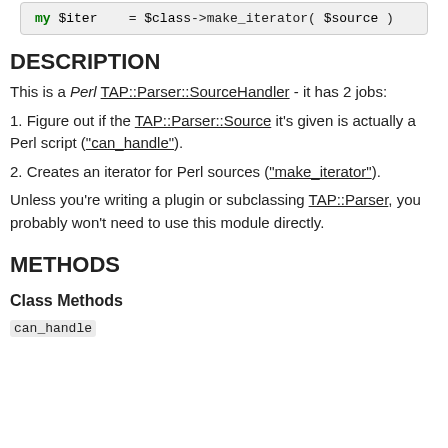[Figure (screenshot): Code snippet showing: my $iter = $class->make_iterator( $source );]
DESCRIPTION
This is a Perl TAP::Parser::SourceHandler - it has 2 jobs:
1. Figure out if the TAP::Parser::Source it's given is actually a Perl script ("can_handle").
2. Creates an iterator for Perl sources ("make_iterator").
Unless you're writing a plugin or subclassing TAP::Parser, you probably won't need to use this module directly.
METHODS
Class Methods
can_handle